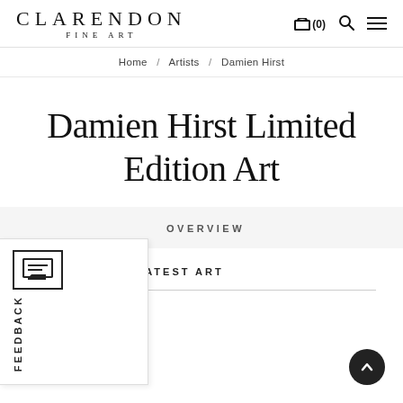CLARENDON FINE ART  (0)
Home / Artists / Damien Hirst
Damien Hirst Limited Edition Art
OVERVIEW
DAMIEN HIRST LATEST ART